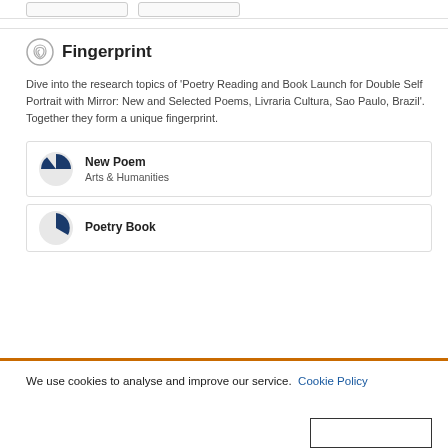Fingerprint
Dive into the research topics of 'Poetry Reading and Book Launch for Double Self Portrait with Mirror: New and Selected Poems, Livraria Cultura, Sao Paulo, Brazil'. Together they form a unique fingerprint.
New Poem
Arts & Humanities
Poetry Book
We use cookies to analyse and improve our service. Cookie Policy